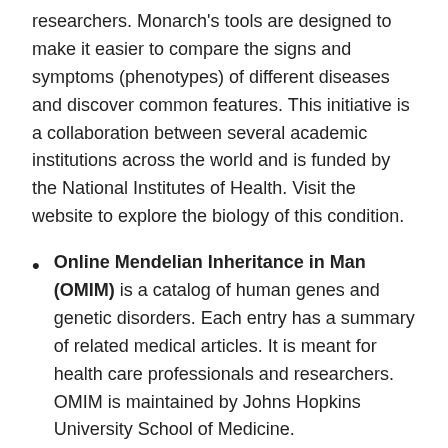researchers. Monarch's tools are designed to make it easier to compare the signs and symptoms (phenotypes) of different diseases and discover common features. This initiative is a collaboration between several academic institutions across the world and is funded by the National Institutes of Health. Visit the website to explore the biology of this condition.
Online Mendelian Inheritance in Man (OMIM) is a catalog of human genes and genetic disorders. Each entry has a summary of related medical articles. It is meant for health care professionals and researchers. OMIM is maintained by Johns Hopkins University School of Medicine.
Orphanet is a European reference portal for information on rare diseases and orphan